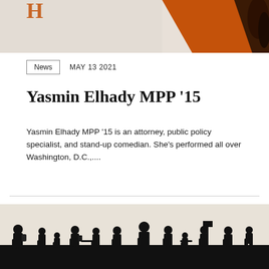[Figure (photo): Partial image at top of page showing a textured background with orange/brown tones and what appears to be a person's hair or figure on the right side]
News   MAY 13 2021
Yasmin Elhady MPP '15
Yasmin Elhady MPP '15 is an attorney, public policy specialist, and stand-up comedian. She's performed all over Washington, D.C.,....
[Figure (photo): Silhouette image of a crowd of people walking, shown in black and white with high contrast against a light textured background]